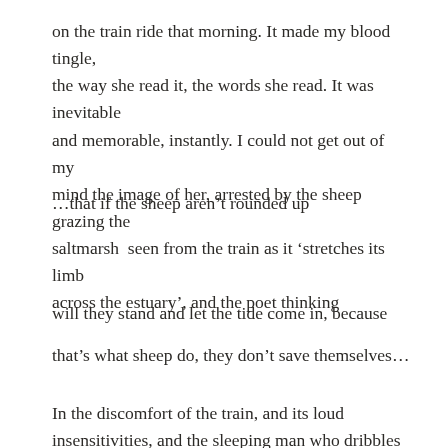on the train ride that morning. It made my blood tingle, the way she read it, the words she read. It was inevitable and memorable, instantly. I could not get out of my mind the image of her, arrested by the sheep grazing the saltmarsh  seen from the train as it ‘stretches its limb across the estuary’, and the poet thinking
…that if the sheep aren’t rounded up
will they stand and let the tide come in, because
that’s what sheep do, they don’t save themselves…
In the discomfort of the train, and its loud insensitivities, and the sleeping man who dribbles on